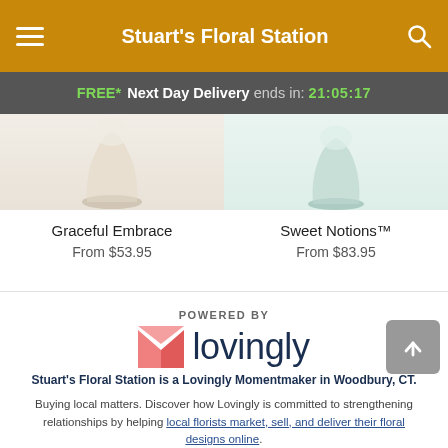Stuart's Floral Station
FREE* Next Day Delivery ends in: 21:05:17
[Figure (photo): Graceful Embrace floral arrangement in a cream/beige vase]
Graceful Embrace
From $53.95
[Figure (photo): Sweet Notions arrangement in a pale mint/teal vase]
Sweet Notions™
From $83.95
POWERED BY
[Figure (logo): Lovingly logo with pink heart/envelope icon and dark blue 'lovingly' text]
Stuart's Floral Station is a Lovingly Momentmaker in Woodbury, CT.
Buying local matters. Discover how Lovingly is committed to strengthening relationships by helping local florists market, sell, and deliver their floral designs online.